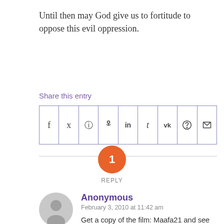Until then may God give us to fortitude to oppose this evil oppression.
Share this entry
[Figure (other): Social sharing icons row: Facebook, Twitter, WhatsApp, Pinterest, LinkedIn, Tumblr, VK, Reddit, Email]
[Figure (infographic): Orange circle badge with number 1 and REPLY label below, on a horizontal divider line]
Anonymous
February 3, 2010 at 11:42 am
Get a copy of the film: Maafa21 and see teh historical proof that abortion is racist – Over 2